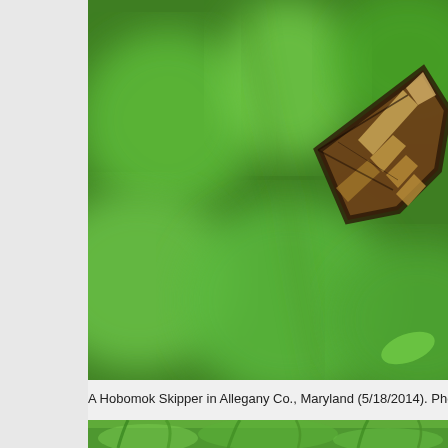[Figure (photo): A Hobomok Skipper butterfly perched on green foliage, photographed in Allegany Co., Maryland on 5/18/2014. The butterfly's wing is visible showing brown and tan/cream patterned markings against a blurred green bokeh background.]
A Hobomok Skipper in Allegany Co., Maryland (5/18/2014). Photo by
[Figure (photo): Partial view of a second photo showing green grass or plant leaves, cropped at the bottom of the page.]